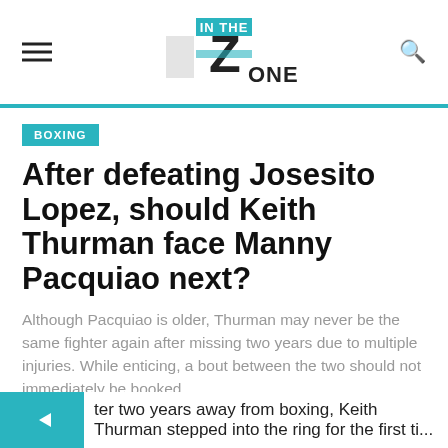IN THE ZONE
BOXING
After defeating Josesito Lopez, should Keith Thurman face Manny Pacquiao next?
Although Pacquiao is older, Thurman may never be the same fighter again after missing two years due to multiple injuries. While enticing, a bout between the two should not immediately be booked.
by Daniel Yanofsky  February 11, 2019
ter two years away from boxing, Keith Thurman stepped into the ring for the first ti...